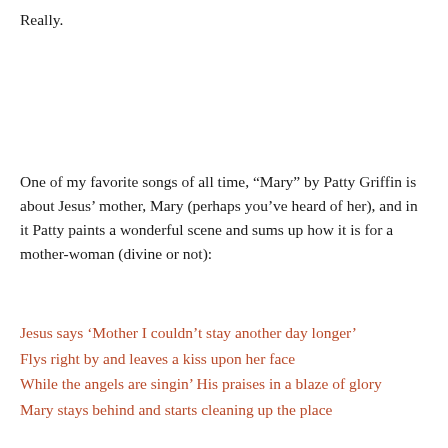Really.
One of my favorite songs of all time, “Mary” by Patty Griffin is about Jesus’ mother, Mary (perhaps you’ve heard of her), and in it Patty paints a wonderful scene and sums up how it is for a mother-woman (divine or not):
Jesus says ‘Mother I couldn’t stay another day longer’
Flys right by and leaves a kiss upon her face
While the angels are singin’ His praises in a blaze of glory
Mary stays behind and starts cleaning up the place